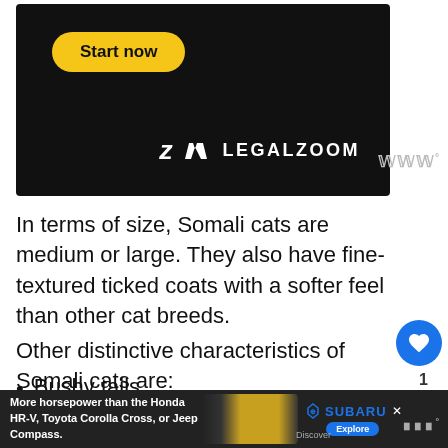[Figure (screenshot): LegalZoom advertisement banner with dark background, yellow 'Start now' button, and LegalZoom logo in white]
In terms of size, Somali cats are medium or large. They also have fine-textured ticked coats with a softer feel than other cat breeds.
Other distinctive characteristics of Somali cats are:
Bushy tails
Large almond eyes that are intensely green or
[Figure (screenshot): Bottom advertisement banner for Subaru showing a yellow SUV with text 'More horsepower than the Honda HR-V, Toyota Corolla Cross, or Jeep Compass.']